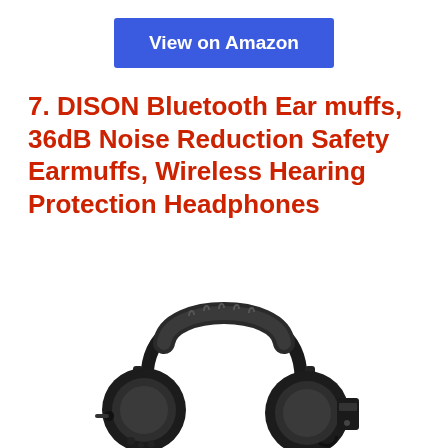View on Amazon
7. DISON Bluetooth Ear muffs, 36dB Noise Reduction Safety Earmuffs, Wireless Hearing Protection Headphones
[Figure (photo): Black DISON Bluetooth hearing protection earmuffs/headphones with adjustable headband, shown from a slight angle displaying both ear cups and the top band with padding.]